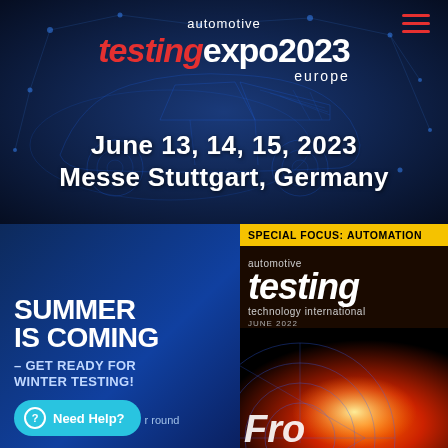[Figure (illustration): Automotive Testing Expo 2023 Europe banner with blue wireframe car background, event logo, date and venue information. Below: two promotional items - a 'Summer Is Coming / Winter Testing' ad on the left and the Automotive Testing Technology International magazine cover on the right.]
automotive testing expo 2023 europe
June 13, 14, 15, 2023
Messe Stuttgart, Germany
SUMMER IS COMING – GET READY FOR WINTER TESTING!
Need Help? year round
SPECIAL FOCUS: AUTOMATION
automotive testing technology international JUNE 2022